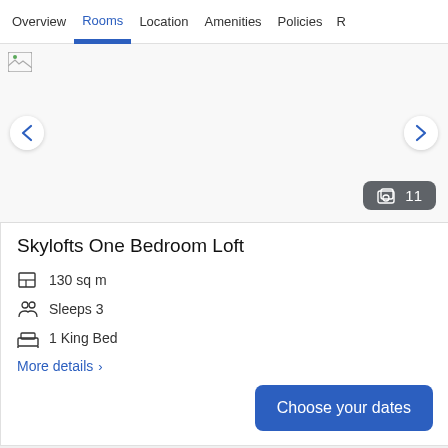Overview | Rooms | Location | Amenities | Policies | R
[Figure (photo): Hotel room photo carousel area, image not loaded (broken icon visible). Navigation arrows on left and right sides. Photo count badge showing 11 photos.]
Skylofts One Bedroom Loft
130 sq m
Sleeps 3
1 King Bed
More details >
Choose your dates